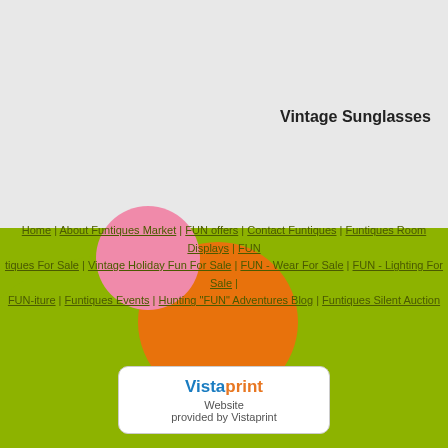[Figure (illustration): Colorful decorative circles: pink circle upper left, orange circle overlapping, large lime-green circle/arc on lower left, on a light gray background]
Vintage Sunglasses
Home | About Funtiques Market | FUN offers | Contact Funtiques | Funtiques Room Displays | FUNtiques For Sale | Vintage Holiday Fun For Sale | FUN - Wear For Sale | FUN - Lighting For Sale | FUN-iture | Funtiques Events | Hunting "FUN" Adventures Blog | Funtiques Silent Auction
[Figure (logo): Vistaprint badge: blue 'Vista' orange 'print' with text 'Website provided by Vistaprint']